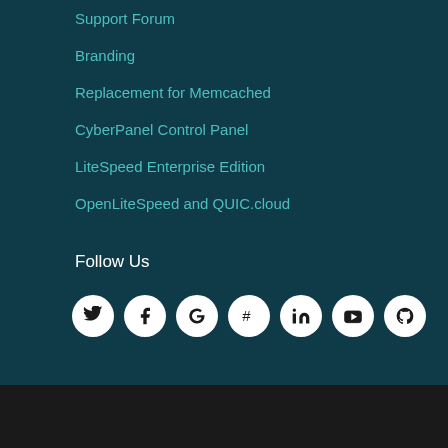Support Forum
Branding
Replacement for Memcached
CyberPanel Control Panel
LiteSpeed Enterprise Edition
OpenLiteSpeed and QUIC.cloud
Follow Us
[Figure (other): Social media icon buttons: Twitter, Facebook, Google, Hashtag/Slack, LinkedIn, YouTube, GitHub]
Privacy Policy   Copyright © 2013-2021
LiteSpeed Technologies Inc. All Rights Reserved